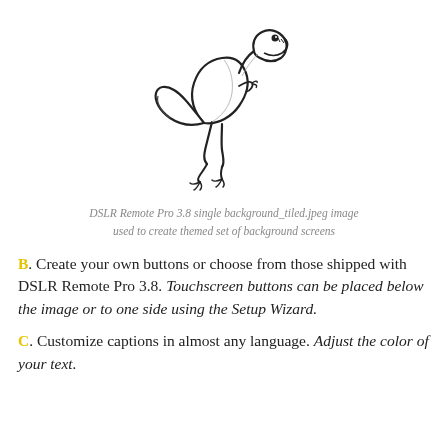[Figure (illustration): A black and white line drawing of a raptor dinosaur in a running/alert pose, facing right with open mouth.]
DSLR Remote Pro 3.8 single background_tiled.jpeg image used to create themed set of background screens
B. Create your own buttons or choose from those shipped with DSLR Remote Pro 3.8. Touchscreen buttons can be placed below the image or to one side using the Setup Wizard.
C. Customize captions in almost any language. Adjust the color of your text.